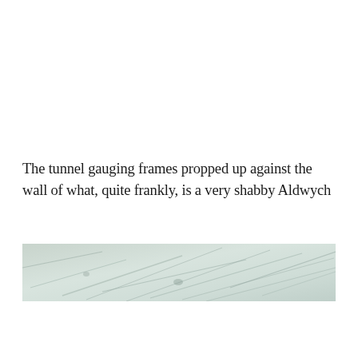The tunnel gauging frames propped up against the wall of what, quite frankly, is a very shabby Aldwych
[Figure (photo): A horizontal strip showing a marble or tiled wall surface with grey-green veining, photographed close-up. The surface appears weathered and aged.]